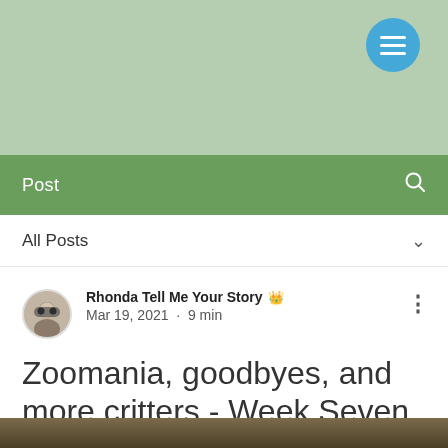[Figure (screenshot): Light green header background with a blue circular hamburger menu button in the top right corner]
Post
All Posts
Rhonda Tell Me Your Story · Mar 19, 2021 · 9 min
Zoomania, goodbyes, and more critters - Week Seven 3/6 - 3/14
Updated: May 21, 2021
[Figure (photo): Partial photo visible at the bottom of the page, dark olive/brown tones]